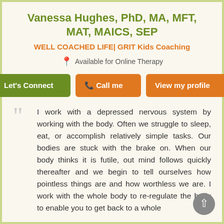Vanessa Hughes, PhD, MA, MFT, MAT, MAICS, SEP
WELL COACHED LIFE| GRIT Kids Coaching
Available for Online Therapy
I work with a depressed nervous system by working with the body. Often we struggle to sleep, eat, or accomplish relatively simple tasks. Our bodies are stuck with the brake on. When our body thinks it is futile, out mind follows quickly thereafter and we begin to tell ourselves how pointless things are and how worthless we are. I work with the whole body to re-regulate the body to enable you to get back to a whole integrated self...